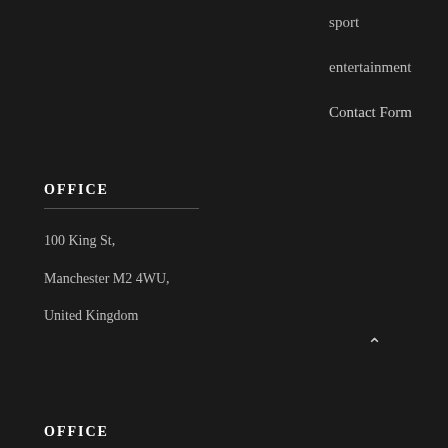sport
entertainment
Contact Form
OFFICE
100 King St,
Manchester M2 4WU,
United Kingdom
OFFICE